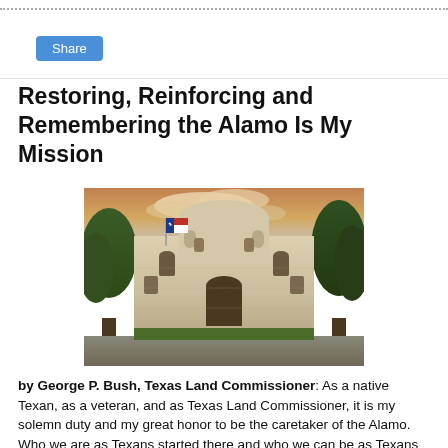Share
Restoring, Reinforcing and Remembering the Alamo Is My Mission
[Figure (photo): Photograph of the Alamo building facade with a Texas flag flying, trees on either side, and a colorful sunset sky in the background.]
by George P. Bush, Texas Land Commissioner: As a native Texan, as a veteran, and as Texas Land Commissioner, it is my solemn duty and my great honor to be the caretaker of the Alamo. Who we are as Texans started there and who we can be as Texans and Americans still lives there.